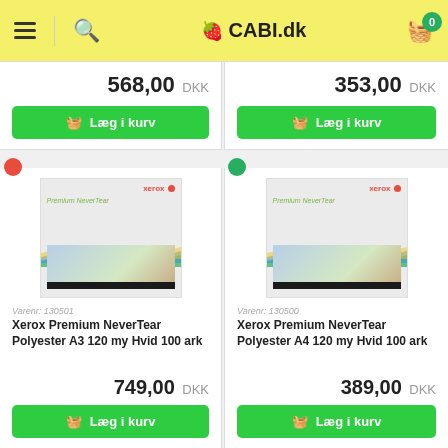CABI.dk
568,00 DKK
Læg i kurv
353,00 DKK
Læg i kurv
[Figure (photo): Xerox Premium NeverTear product packaging - left card]
Varenr: 130501
Xerox Premium NeverTear Polyester A3 120 my Hvid 100 ark
749,00 DKK
Læg i kurv
[Figure (photo): Xerox Premium NeverTear product packaging - right card]
Varenr: 130500
Xerox Premium NeverTear Polyester A4 120 my Hvid 100 ark
389,00 DKK
Læg i kurv